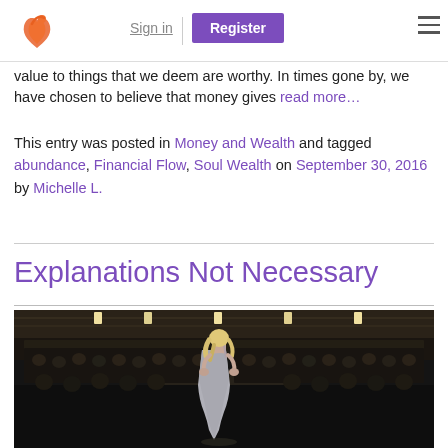Sign in | Register
value to things that we deem are worthy. In times gone by, we have chosen to believe that money gives read more…
This entry was posted in Money and Wealth and tagged abundance, Financial Flow, Soul Wealth on September 30, 2016 by Michelle L.
Explanations Not Necessary
[Figure (photo): A woman with blonde hair in a silver dress seen from behind, standing on a stage facing a large audience in a dark venue]